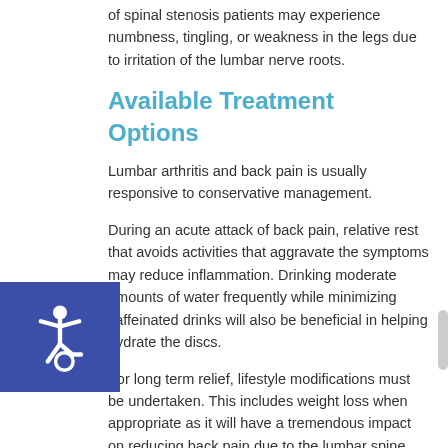of spinal stenosis patients may experience numbness, tingling, or weakness in the legs due to irritation of the lumbar nerve roots.
Available Treatment Options
Lumbar arthritis and back pain is usually responsive to conservative management.
During an acute attack of back pain, relative rest that avoids activities that aggravate the symptoms may reduce inflammation. Drinking moderate amounts of water frequently while minimizing caffeinated drinks will also be beneficial in helping hydrate the discs.
For long term relief, lifestyle modifications must be undertaken. This includes weight loss when appropriate as it will have a tremendous impact on reducing back pain due to the lumbar spine bearing the weight of the upper body and weight of the head.
Exercising in a position it will easier to reduce i